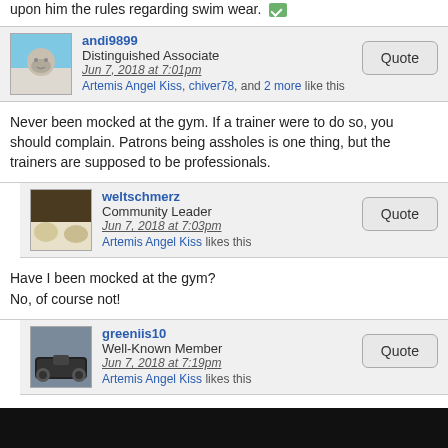upon him the rules regarding swim wear.
andi9899
Distinguished Associate
Jun 7, 2018 at 7:01pm
Artemis Angel Kiss, chiver78, and 2 more like this
Never been mocked at the gym. If a trainer were to do so, you should complain. Patrons being assholes is one thing, but the trainers are supposed to be professionals.
weltschmerz
Community Leader
Jun 7, 2018 at 7:03pm
Artemis Angel Kiss likes this
Have I been mocked at the gym?
No, of course not!
greeniis10
Well-Known Member
Jun 7, 2018 at 7:19pm
Artemis Angel Kiss likes this
I've never been mocked at the gym either and I've been going to gyms regularly since I was a teenager.